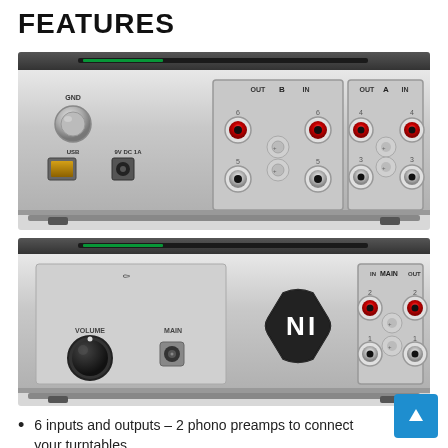FEATURES
[Figure (photo): Rear panel of a Native Instruments audio interface showing RCA input/output connectors for channels A and B (ports 3-6), USB port, 9V DC 1A power input, and GND terminal]
[Figure (photo): Front panel of a Native Instruments audio interface showing headphone output with VOLUME knob, MAIN jack, NI logo, and MAIN IN/OUT RCA connectors for channels 1-2]
6 inputs and outputs – 2 phono preamps to connect your turntables